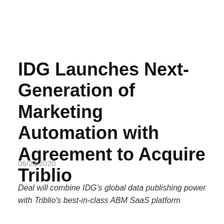IDG Launches Next-Generation of Marketing Automation with Agreement to Acquire Triblio
06/23/2020
Deal will combine IDG's global data publishing power with Triblio's best-in-class ABM SaaS platform